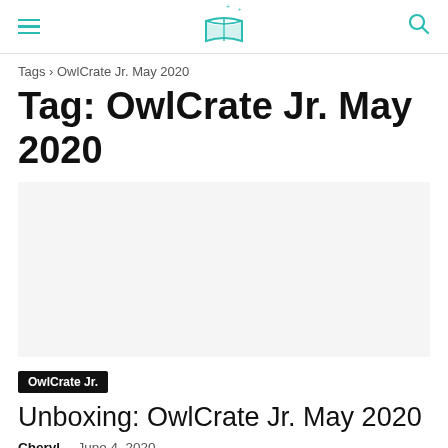≡  [book logo]  🔍
Tags › OwlCrate Jr. May 2020
Tag: OwlCrate Jr. May 2020
[Figure (photo): Article thumbnail image placeholder]
OwlCrate Jr.
Unboxing: OwlCrate Jr. May 2020
Cheryl – June 4, 2020